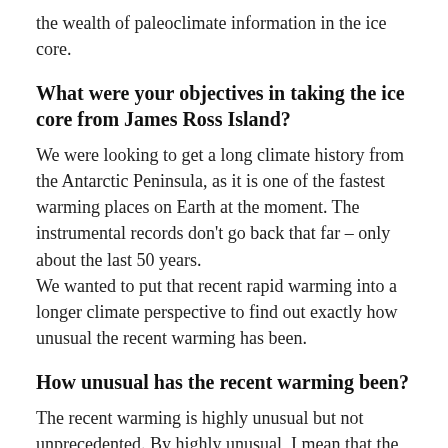the wealth of paleoclimate information in the ice core.
What were your objectives in taking the ice core from James Ross Island?
We were looking to get a long climate history from the Antarctic Peninsula, as it is one of the fastest warming places on Earth at the moment. The instrumental records don’t go back that far – only about the last 50 years.
We wanted to put that recent rapid warming into a longer climate perspective to find out exactly how unusual the recent warming has been.
How unusual has the recent warming been?
The recent warming is highly unusual but not unprecedented. By highly unusual, I mean that the rate of warming along the peninsula has been in